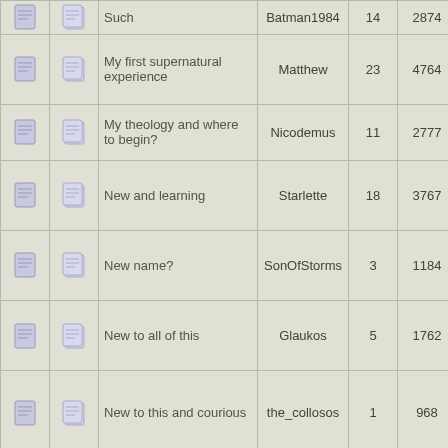|  |  | Topic | Author | Replies | Views | Last Post |
| --- | --- | --- | --- | --- | --- | --- |
| [icon] | [icon] | Such | Batman1984 | 14 | 2874 | 04:55:2… by Batm… |
| [icon] | [icon] | My first supernatural experience | Matthew | 23 | 4764 | August 2011, 04:41:5… by thege… |
| [icon] | [icon] | My theology and where to begin? | Nicodemus | 11 | 2777 | July 30, 10:18:0… by Nico… |
| [icon] | [icon] | New and learning | Starlette | 18 | 3767 | May 02, 2011, 01:20:3… by Amb… |
| [icon] | [icon] | New name? | SonOfStorms | 3 | 1184 | March 2 2014, 01:44:4… by drage… |
| [icon] | [icon] | New to all of this | Glaukos | 5 | 1762 | January 2012, 05:47:3… by skull… |
| [icon] | [icon] | New to this and courious | the_collosos | 1 | 968 | April 16 2022, 09:35:4… by Crys… Dragon |